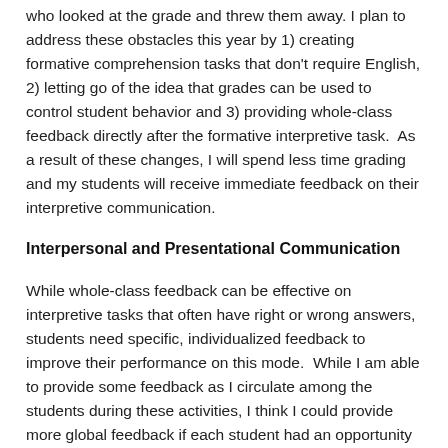who looked at the grade and threw them away. I plan to address these obstacles this year by 1) creating formative comprehension tasks that don't require English, 2) letting go of the idea that grades can be used to control student behavior and 3) providing whole-class feedback directly after the formative interpretive task.  As a result of these changes, I will spend less time grading and my students will receive immediate feedback on their interpretive communication.
Interpersonal and Presentational Communication
While whole-class feedback can be effective on interpretive tasks that often have right or wrong answers, students need specific, individualized feedback to improve their performance on this mode.  While I am able to provide some feedback as I circulate among the students during these activities, I think I could provide more global feedback if each student had an opportunity to receive feedback on the entirety of their performance.  Therefore, my plan is to provide each student